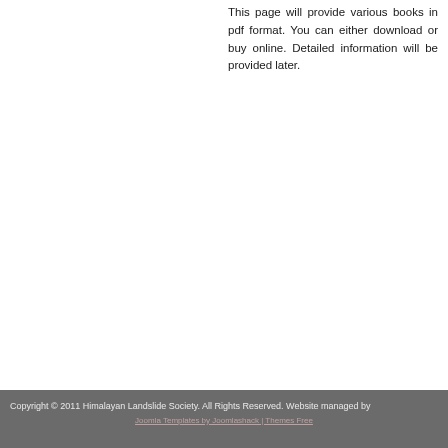This page will provide various books in pdf format. You can either download or buy online. Detailed information will be provided later.
Copyright © 2011 Himalayan Landslide Society. All Rights Reserved. Website managed by